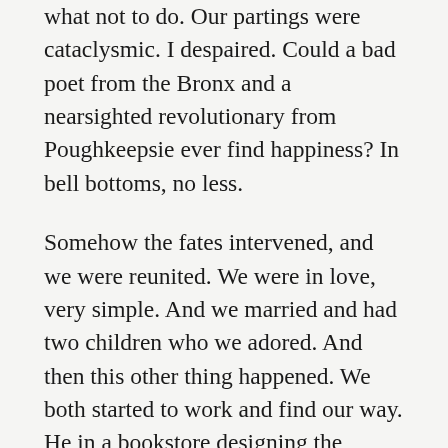what not to do. Our partings were cataclysmic. I despaired. Could a bad poet from the Bronx and a nearsighted revolutionary from Poughkeepsie ever find happiness? In bell bottoms, no less.
Somehow the fates intervened, and we were reunited. We were in love, very simple. And we married and had two children who we adored. And then this other thing happened. We both started to work and find our way. He in a bookstore designing the windows and then the ads, I beginning to draw and deciding that being a cartoonist or humorist was a good way to live. And we started to work together, and begin a conversation that never ended and knew no limits. And we didn't think we had to choose one thing, we thought we could choose every-